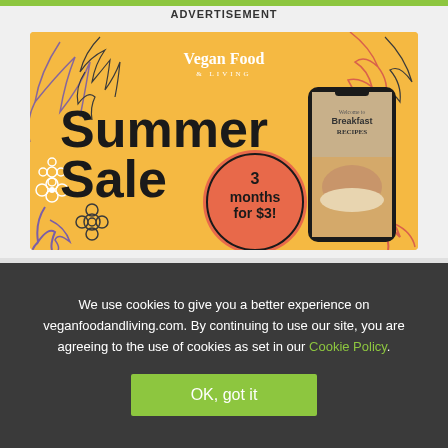ADVERTISEMENT
[Figure (illustration): Vegan Food & Living Summer Sale advertisement banner with orange/yellow background, tropical leaf decorations, 'Summer Sale 3 months for $3!' offer, and a phone showing Breakfast Recipes magazine]
We use cookies to give you a better experience on veganfoodandliving.com. By continuing to use our site, you are agreeing to the use of cookies as set in our Cookie Policy.
OK, got it